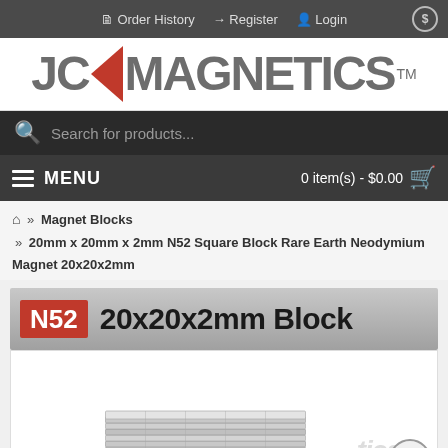Order History  Register  Login
[Figure (logo): JC Magnetics logo with red triangle between JC and MAGNETICS text, TM superscript]
Search for products...
MENU  0 item(s) - $0.00
Magnet Blocks » 20mm x 20mm x 2mm N52 Square Block Rare Earth Neodymium Magnet 20x20x2mm
[Figure (infographic): N52 badge in red with white text and product title: 20x20x2mm Block on gray gradient background]
[Figure (photo): Photo of thin square neodymium magnet blocks stacked, with JC Magnetics watermark and scroll-up button]